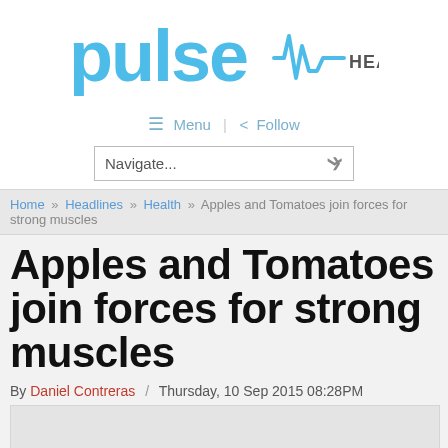pulse HEADLINES
Menu   Follow
Navigate...
Home » Headlines » Health » Apples and Tomatoes join forces for strong muscles
Apples and Tomatoes join forces for strong muscles
By Daniel Contreras / Thursday, 10 Sep 2015 08:28PM